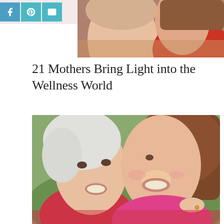Social share buttons: Facebook, Pinterest, Email
[Figure (photo): Partial photo of two women at the top of the page, cropped view showing faces and upper bodies]
21 Mothers Bring Light into the Wellness World
[Figure (photo): Two women smiling and laughing together cheek to cheek — an older woman with white/silver hair and a younger woman with brown hair wearing a pink top. The younger woman has a gold ring on her hand resting on the older woman's shoulder.]